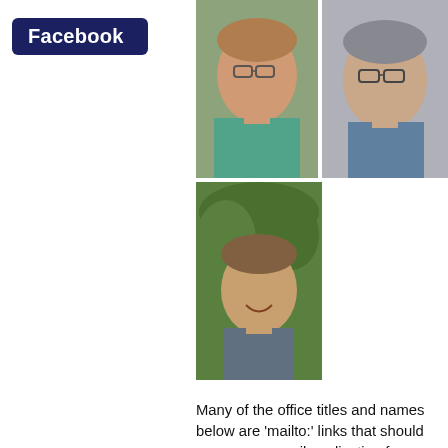Facebook
[Figure (photo): Three portrait photos of people arranged in a 2x1 top row and 1 below left]
Many of the office titles and names below are 'mailto:' links that should open your e-mail application for you ready to write a message. The e-mail addresses linked from the office titles are formal ones such as 'secretary' or 'treasurer'. Those from names are informal ones such as 'dave' or 'peter'. Please use whichever form you feel more comfortable with. You will find any emails typically of the form